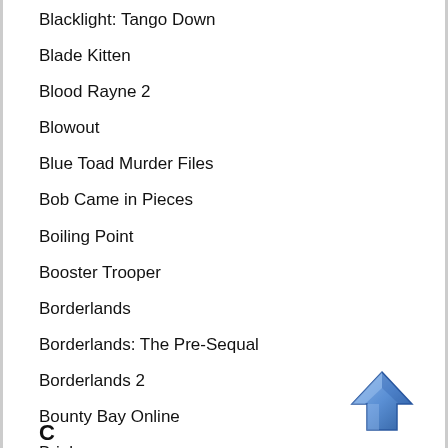Blacklight: Tango Down
Blade Kitten
Blood Rayne 2
Blowout
Blue Toad Murder Files
Bob Came in Pieces
Boiling Point
Booster Trooper
Borderlands
Borderlands: The Pre-Sequal
Borderlands 2
Bounty Bay Online
Brink
Brothers in Arms: Road to Hill 30
Burn Zombie Burn
[Figure (illustration): Blue upward-pointing arrow button/icon in the bottom-right corner]
C